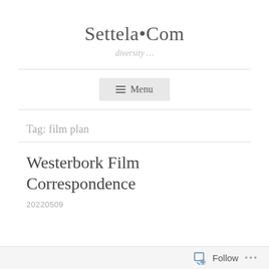Settela•Com
diversity …
≡ Menu
Tag: film plan
Westerbork Film Correspondence
20220509
Follow …